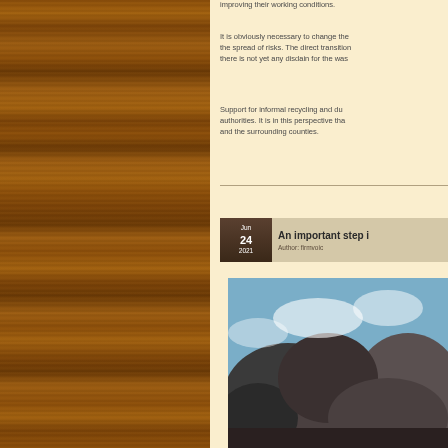[Figure (photo): Wooden panel texture background on left side of page]
improving their working conditions.
It is obviously necessary to change the spread of risks. The direct transition there is not yet any disdain for the wast
Support for informal recycling and dum authorities. It is in this perspective that and the surrounding counties.
An important step i
Author: firmvoic
[Figure (photo): Dark smoky sky with clouds, outdoor environmental photograph]